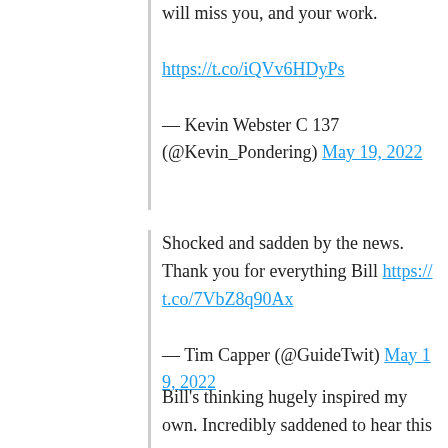will miss you, and your work.
https://t.co/iQVv6HDyPs

— Kevin Webster C 137 (@Kevin_Pondering) May 19, 2022
Shocked and sadden by the news. Thank you for everything Bill https://t.co/7VbZ8q90Ax

— Tim Capper (@GuideTwit) May 19, 2022
Bill's thinking hugely inspired my own. Incredibly saddened to hear this news – thoughts with his family and friends.